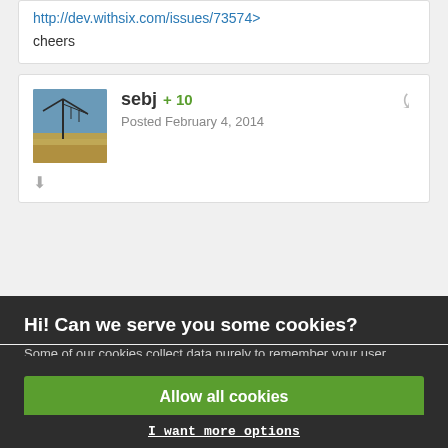http://dev.withsix.com/issues/73574>
cheers
sebj   +10
Posted February 4, 2014
Hi! Can we serve you some cookies?
Some of our cookies collect data purely to remember your user preferences on the website. In case of analytical or marketing cookies, we always collect as little data as possible to make sure we keep our marketing well targeted - which often results in you not being spammed by any of our ads at all. We're also never looking at data about you in particular, everything at Bohemia is analyzed in an aggregated form. Learn more
Allow all cookies
I want more options